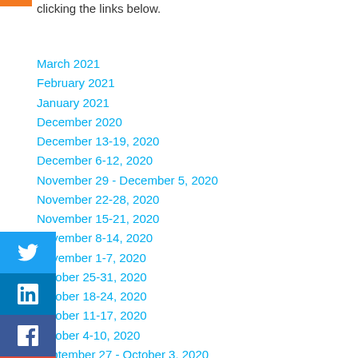clicking the links below.
March 2021
February 2021
January 2021
December 2020
December 13-19, 2020
December 6-12, 2020
November 29 - December 5, 2020
November 22-28, 2020
November 15-21, 2020
November 8-14, 2020
November 1-7, 2020
October 25-31, 2020
October 18-24, 2020
October 11-17, 2020
October 4-10, 2020
September 27 - October 3, 2020
September 20-26, 2020